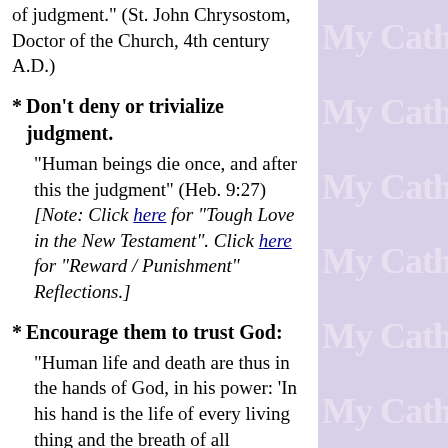of judgment." (St. John Chrysostom, Doctor of the Church, 4th century A.D.)
* Don't deny or trivialize judgment. "Human beings die once, and after this the judgment" (Heb. 9:27) [Note: Click here for "Tough Love in the New Testament". Click here for "Reward / Punishment" Reflections.]
* Encourage them to trust God: "Human life and death are thus in the hands of God, in his power: 'In his hand is the life of every living thing and the breath of all mankind', exclaims Job (12:10). 'The Lord brings to death and brings to life; he brings down to Sheol and raises up' (1 Sam. 2:6). He alone can say: 'It is I who bring both death and life' (Deut. 32:39). But God does not exercise this